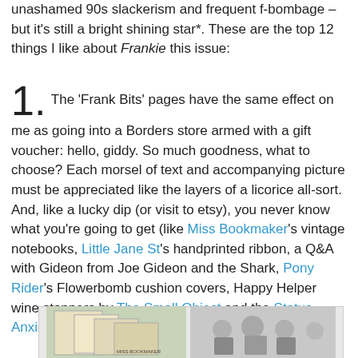unashamed 90s slackerism and frequent f-bombage – but it's still a bright shining star*. These are the top 12 things I like about Frankie this issue:
1. The 'Frank Bits' pages have the same effect on me as going into a Borders store armed with a gift voucher: hello, giddy. So much goodness, what to choose? Each morsel of text and accompanying picture must be appreciated like the layers of a licorice all-sort. And, like a lucky dip (or visit to etsy), you never know what you're going to get (like Miss Bookmaker's vintage notebooks, Little Jane St's handprinted ribbon, a Q&A with Gideon from Joe Gideon and the Shark, Pony Rider's Flowerbomb cushion covers, Happy Helper wine stoppers by The Small Object and the Status Anxiety "Amelie" coin purse).
[Figure (photo): Two photographs side by side: left shows vintage-style illustrated cards/postcards with 'Miss Bookmaker' text visible; right shows a group of young people outdoors wearing sunglasses.]